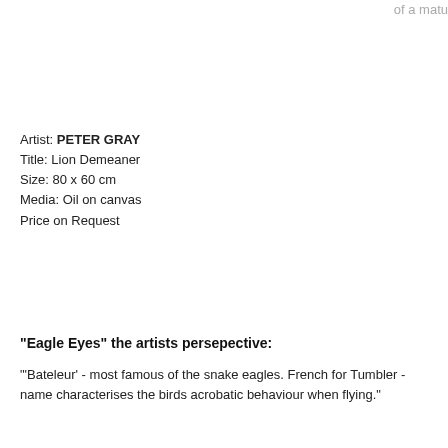of a matu
Artist: PETER GRAY
Title: Lion Demeaner
Size: 80 x 60 cm
Media: Oil on canvas
Price on Request
"Eagle Eyes" the artists persepective:
'Bateleur' - most famous of the snake eagles. French for Tumbler - name characterises the birds acrobatic behaviour when flying."